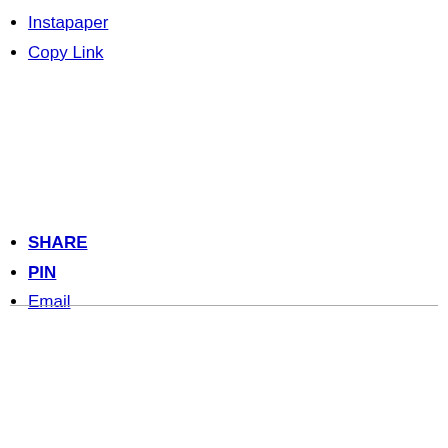Instapaper
Copy Link
SHARE
PIN
Email